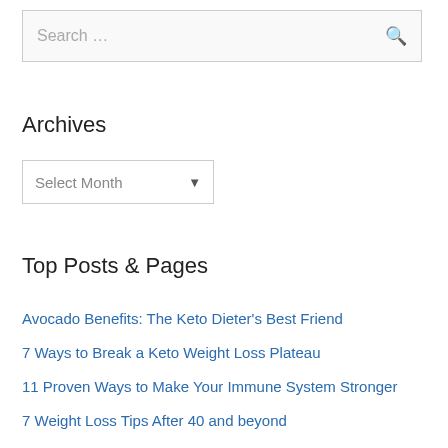Search …
Archives
Select Month
Top Posts & Pages
Avocado Benefits: The Keto Dieter's Best Friend
7 Ways to Break a Keto Weight Loss Plateau
11 Proven Ways to Make Your Immune System Stronger
7 Weight Loss Tips After 40 and beyond